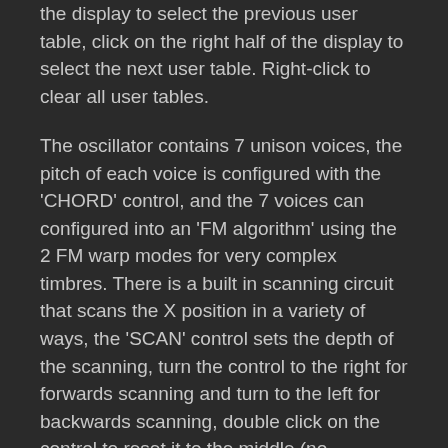the display to select the previous user table, click on the right half of the display to select the next user table. Right-click to clear all user tables.
The oscillator contains 7 unison voices, the pitch of each voice is configured with the 'CHORD' control, and the 7 voices can configured into an 'FM algorithm' using the 2 FM warp modes for very complex timbres. There is a built in scanning circuit that scans the X position in a variety of ways, the 'SCAN' control sets the depth of the scanning, turn the control to the right for forwards scanning and turn to the left for backwards scanning, double click on the control to reset it to the middle (no scanning). The 'SPEED' control sets the speed of scanning. The following scan modes are available:
LOOP = The position is scanned in one direction, continuously looping.
PONG (ping-pong) = The position is scanned in